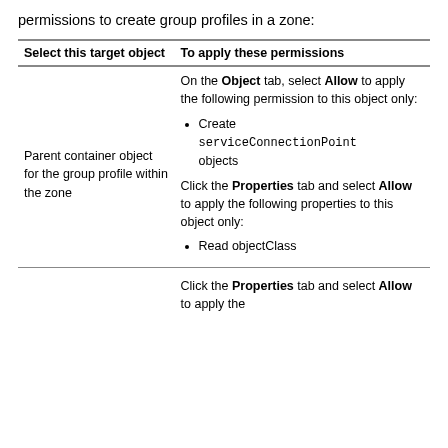permissions to create group profiles in a zone:
| Select this target object | To apply these permissions |
| --- | --- |
| Parent container object for the group profile within the zone | On the Object tab, select Allow to apply the following permission to this object only:
• Create serviceConnectionPoint objects
Click the Properties tab and select Allow to apply the following properties to this object only:
• Read objectClass |
|  | Click the Properties tab and select Allow to apply the |